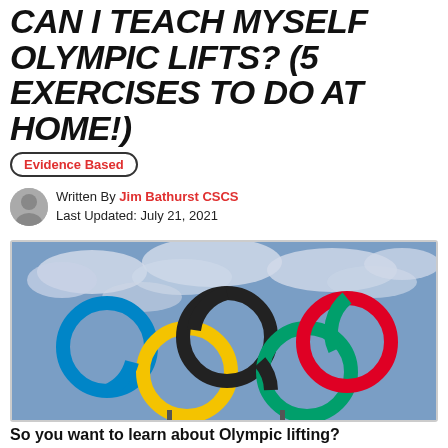CAN I TEACH MYSELF OLYMPIC LIFTS? (5 EXERCISES TO DO AT HOME!)
Evidence Based
Written By Jim Bathurst CSCS
Last Updated: July 21, 2021
[Figure (photo): Photo of the five Olympic rings sculpture (blue, black, red, yellow, green) against a cloudy sky]
So you want to learn about Olympic lifting?